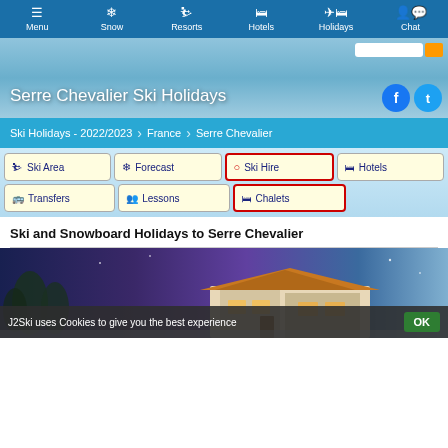Menu | Snow | Resorts | Hotels | Holidays | Chat
Serre Chevalier Ski Holidays
Ski Holidays - 2022/2023 > France > Serre Chevalier
Ski Area
Forecast
Ski Hire
Hotels
Transfers
Lessons
Chalets
Ski and Snowboard Holidays to Serre Chevalier
[Figure (photo): Chalet/lodge in snowy mountain setting at dusk/night with blue and purple lighting]
J2Ski uses Cookies to give you the best experience OK